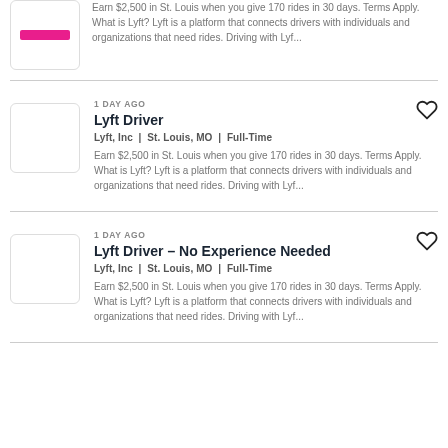Earn $2,500 in St. Louis when you give 170 rides in 30 days. Terms Apply. What is Lyft? Lyft is a platform that connects drivers with individuals and organizations that need rides. Driving with Lyf...
1 DAY AGO
Lyft Driver
Lyft, Inc | St. Louis, MO | Full-Time
Earn $2,500 in St. Louis when you give 170 rides in 30 days. Terms Apply. What is Lyft? Lyft is a platform that connects drivers with individuals and organizations that need rides. Driving with Lyf...
1 DAY AGO
Lyft Driver - No Experience Needed
Lyft, Inc | St. Louis, MO | Full-Time
Earn $2,500 in St. Louis when you give 170 rides in 30 days. Terms Apply. What is Lyft? Lyft is a platform that connects drivers with individuals and organizations that need rides. Driving with Lyf...